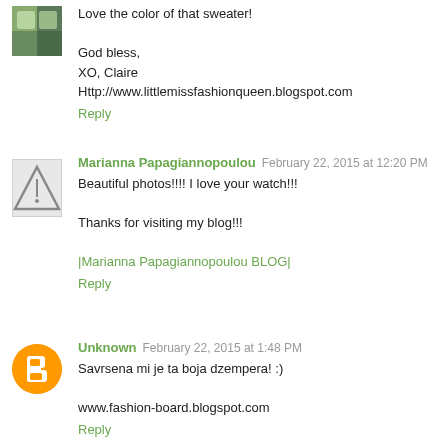Love the color of that sweater!

God bless,
XO, Claire
Http://www.littlemissfashionqueen.blogspot.com
Reply
Marianna Papagiannopoulou  February 22, 2015 at 12:20 PM
Beautiful photos!!!! I love your watch!!!

Thanks for visiting my blog!!!

|Marianna Papagiannopoulou BLOG|
Reply
Unknown  February 22, 2015 at 1:48 PM
Savrsena mi je ta boja dzempera! :)

www.fashion-board.blogspot.com
Reply